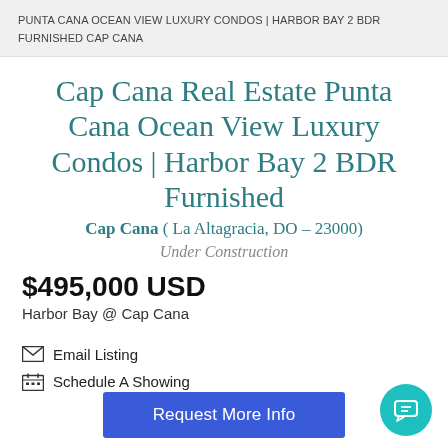PUNTA CANA OCEAN VIEW LUXURY CONDOS | HARBOR BAY 2 BDR FURNISHED CAP CANA
Cap Cana Real Estate Punta Cana Ocean View Luxury Condos | Harbor Bay 2 BDR Furnished
Cap Cana ( La Altagracia, DO – 23000)
Under Construction
$495,000 USD
Harbor Bay @ Cap Cana
Email Listing
Schedule A Showing
Request More Info